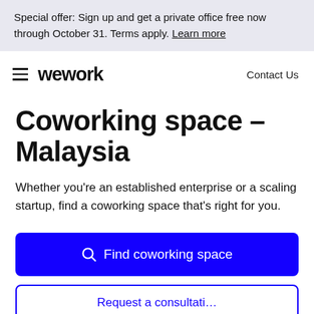Special offer: Sign up and get a private office free now through October 31. Terms apply. Learn more
[Figure (logo): WeWork logo with hamburger menu icon on the left and Contact Us text on the right]
Coworking space – Malaysia
Whether you're an established enterprise or a scaling startup, find a coworking space that's right for you.
Find coworking space
Request a consultation